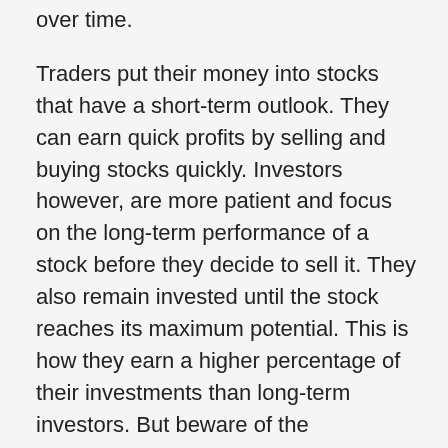over time.
Traders put their money into stocks that have a short-term outlook. They can earn quick profits by selling and buying stocks quickly. Investors however, are more patient and focus on the long-term performance of a stock before they decide to sell it. They also remain invested until the stock reaches its maximum potential. This is how they earn a higher percentage of their investments than long-term investors. But beware of the downsides! You might even lose money.
When you invest in Trading Investments, you must be aware that they may be classified as long-term or short-term. Trading investments are not generally considered to be long-term, but they can be kept with the intent to be sold in the future. These